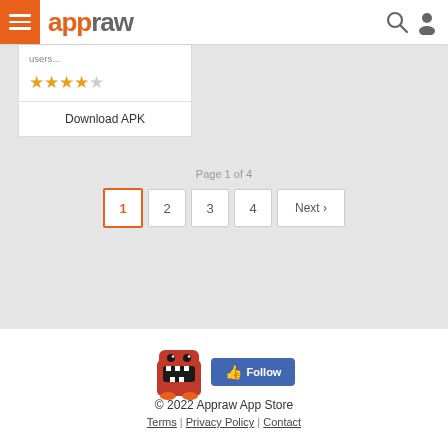appraw
users...
[Figure (other): 4-star rating with orange filled stars, last star empty]
Download APK
Page 1 of 4
1  2  3  4  Next ›
[Figure (illustration): Domo-kun red monster mascot with Facebook Follow button]
© 2022 Appraw App Store
Terms | Privacy Policy | Contact